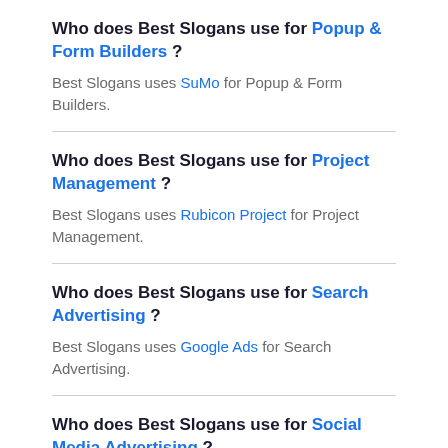Who does Best Slogans use for Popup & Form Builders ?
Best Slogans uses SuMo for Popup & Form Builders.
Who does Best Slogans use for Project Management ?
Best Slogans uses Rubicon Project for Project Management.
Who does Best Slogans use for Search Advertising ?
Best Slogans uses Google Ads for Search Advertising.
Who does Best Slogans use for Social Media Advertising ?
Best Slogans uses Google Ads , and LinkedIn Ads for